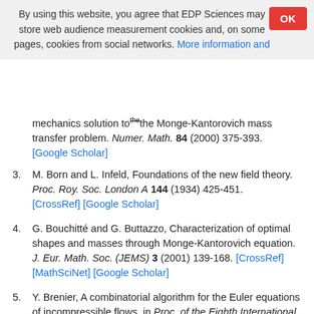By using this website, you agree that EDP Sciences may store web audience measurement cookies and, on some pages, cookies from social networks. More information and
mechanics solution to the Monge-Kantorovich mass transfer problem. Numer. Math. 84 (2000) 375-393. [Google Scholar]
3. M. Born and L. Infeld, Foundations of the new field theory. Proc. Roy. Soc. London A 144 (1934) 425-451. [CrossRef] [Google Scholar]
4. G. Bouchitté and G. Buttazzo, Characterization of optimal shapes and masses through Monge-Kantorovich equation. J. Eur. Math. Soc. (JEMS) 3 (2001) 139-168. [CrossRef] [MathSciNet] [Google Scholar]
5. Y. Brenier, A combinatorial algorithm for the Euler equations of incompressible flows, in Proc. of the Eighth International Conference on Computing Methods in Applied Sciences and Engineering. Versailles (1987). Comput. Methods Appl. Mech. Engrg. 75 (1989) 325-332.